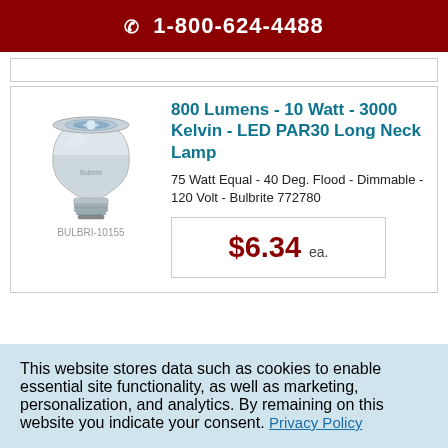📞 1-800-624-4488
[Figure (photo): LED PAR30 Long Neck lamp bulb product photo]
BULBRI-10155
800 Lumens - 10 Watt - 3000 Kelvin - LED PAR30 Long Neck Lamp
75 Watt Equal - 40 Deg. Flood - Dimmable - 120 Volt - Bulbrite 772780
$6.34 ea.
This website stores data such as cookies to enable essential site functionality, as well as marketing, personalization, and analytics. By remaining on this website you indicate your consent. Privacy Policy